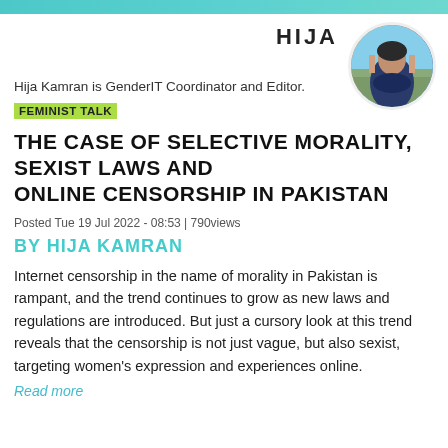HIJA
[Figure (photo): Circular portrait photo of Hija Kamran, a woman in a dark jacket, with a scenic outdoor background]
Hija Kamran is GenderIT Coordinator and Editor.
FEMINIST TALK
THE CASE OF SELECTIVE MORALITY, SEXIST LAWS AND ONLINE CENSORSHIP IN PAKISTAN
Posted Tue 19 Jul 2022 - 08:53 | 790views
BY HIJA KAMRAN
Internet censorship in the name of morality in Pakistan is rampant, and the trend continues to grow as new laws and regulations are introduced. But just a cursory look at this trend reveals that the censorship is not just vague, but also sexist, targeting women's expression and experiences online.
Read more